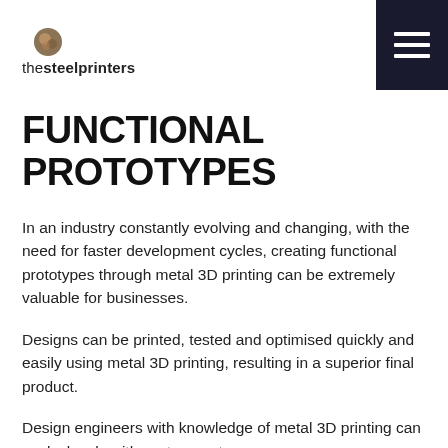thesteelprinters
FUNCTIONAL PROTOTYPES
In an industry constantly evolving and changing, with the need for faster development cycles, creating functional prototypes through metal 3D printing can be extremely valuable for businesses.
Designs can be printed, tested and optimised quickly and easily using metal 3D printing, resulting in a superior final product.
Design engineers with knowledge of metal 3D printing can work closely with customers to